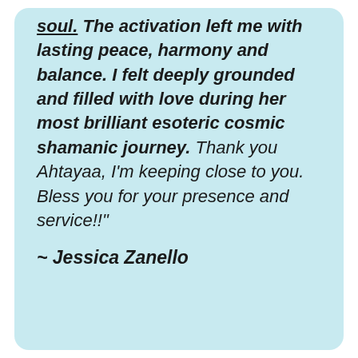soul. The activation left me with lasting peace, harmony and balance. I felt deeply grounded and filled with love during her most brilliant esoteric cosmic shamanic journey. Thank you Ahtayaa, I'm keeping close to you. Bless you for your presence and service!!"
~ Jessica Zanello